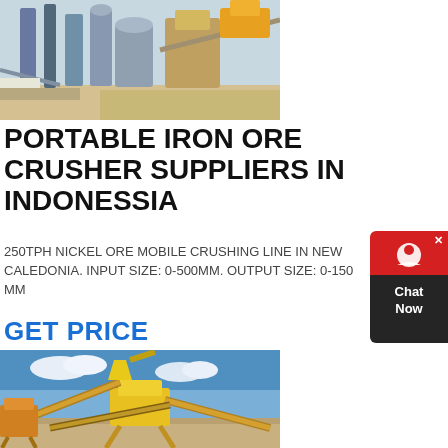[Figure (photo): Industrial mining/crushing facility with pipes, silos, and equipment on sandy ground]
PORTABLE IRON ORE CRUSHER SUPPLIERS IN INDONESSIA
250TPH NICKEL ORE MOBILE CRUSHING LINE IN NEW CALEDONIA. INPUT SIZE: 0-500MM. OUTPUT SIZE: 0-150 MM
GET PRICE
[Figure (photo): Yellow portable ore crushing and conveyor belt equipment on a construction/mining site with blue sky]